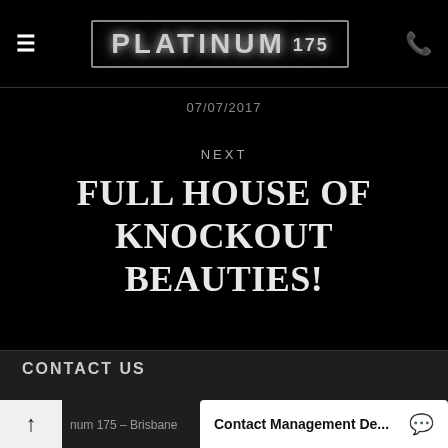PLATINUM 175
07/07/2017
NEXT
FULL HOUSE OF KNOCKOUT BEAUTIES!
CONTACT US
Platinum 175 – Brisbane
Contact Management De...